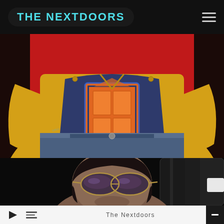THE NEXTDOORS
[Figure (photo): Person wearing a yellow jacket and navy blue t-shirt with an orange door graphic and text NEXTDOORS, against a red background, hands on hips]
[Figure (photo): Person wearing sunglasses looking upward against a dark background with cylindrical shapes]
The Nextdoors